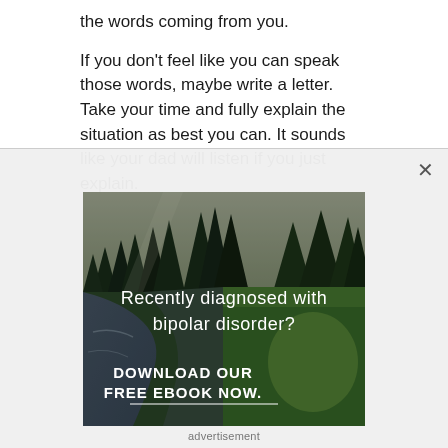the words coming from you.

If you don't feel like you can speak those words, maybe write a letter. Take your time and fully explain the situation as best you can. It sounds like your dad will listen if you just explain.
[Figure (infographic): Advertisement banner showing a forest landscape with a river and pine trees. Text overlay reads 'Recently diagnosed with bipolar disorder? DOWNLOAD OUR FREE EBOOK NOW.' with a white underline.]
advertisement